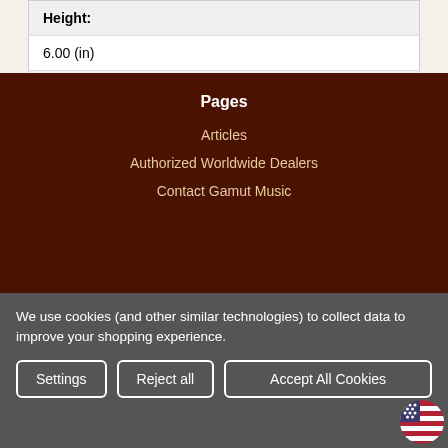| Height: |
| 6.00 (in) |
| Depth: |
| 0.10 (in) |
Pages
Articles
Authorized Worldwide Dealers
Contact Gamut Music
We use cookies (and other similar technologies) to collect data to improve your shopping experience.